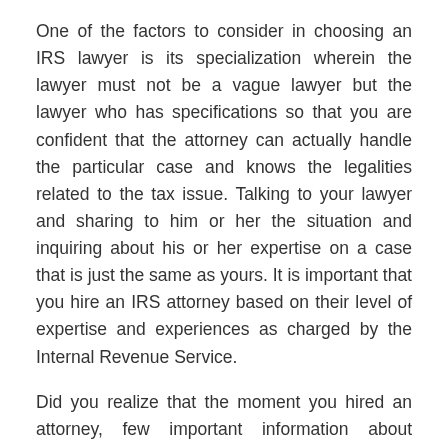One of the factors to consider in choosing an IRS lawyer is its specialization wherein the lawyer must not be a vague lawyer but the lawyer who has specifications so that you are confident that the attorney can actually handle the particular case and knows the legalities related to the tax issue. Talking to your lawyer and sharing to him or her the situation and inquiring about his or her expertise on a case that is just the same as yours. It is important that you hire an IRS attorney based on their level of expertise and experiences as charged by the Internal Revenue Service.
Did you realize that the moment you hired an attorney, few important information about yourself needs to be told especially when it comes to your income sources and investments if you have one? That is why you need a lawyer that is trustworthy and the person that will not allow your personal information to be relayed in public. A trustworthy lawyer must never misuse or mishandle any